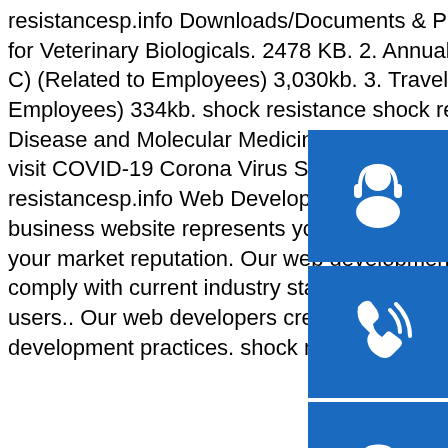resistancesp.info Downloads/Documents & Publications - CDSCO1. Guidance document for Veterinary Biologicals. 2478 KB. 2. Annual performance Appraisal Reports (ACR group C) (Related to Employees) 3,030kb. 3. Travel allowance bill for tour (Related to Employees) 334kb. shock resistance shock resistancesp.info Institute of Infectious Disease and Molecular MedicineFor info on South Africa's response to COVID-19 please visit COVID-19 Corona Virus South African Resource Portal. shock resistance shock resistancesp.info Web Development Services - Web Development Company. Your business website represents your brand. Therefore, its functional efficiency is important for your market reputation. Our web development services helps you to develop websites that comply with current industry standards, providing a seamless experience to your end-users.. Our web developers create high-performing websites using state-of-art website development practices. shock resistance shock resistance
[Figure (illustration): Blue square icon with white headset/support agent silhouette]
[Figure (illustration): Blue square icon with white telephone/call icon]
[Figure (illustration): Blue square icon with white Skype logo]